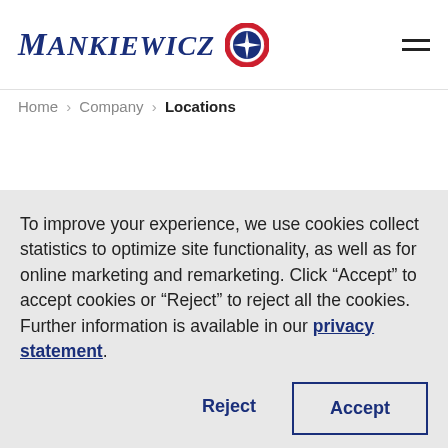[Figure (logo): Mankiewicz logo with company name in blue serif italic font and a circular emblem with a compass star in red and blue]
Home > Company > Locations
To improve your experience, we use cookies collect statistics to optimize site functionality, as well as for online marketing and remarketing. Click “Accept” to accept cookies or “Reject” to reject all the cookies. Further information is available in our privacy statement.
Reject
Accept